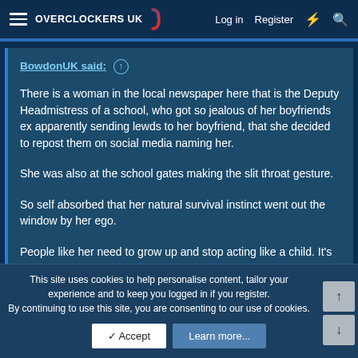OVERCLOCKERS UK | Log in | Register
BowdonUK said: ↑

There is a woman in the local newspaper here that is the Deputy Headmistress of a school, who got so jealous of her boyfriends ex apparently sending lewds to her boyfriend, that she decided to repost them on social media naming her.

She was also at the school gates making the slit throat gesture.

So self absorbed that her natural survival instinct went out the window by her ego.

People like her need to grow up and stop acting like a child. It's scary that shes achieved such a highly trusted position in a school when her judgement is so far off the mark.

Here is a link to the story:
This site uses cookies to help personalise content, tailor your experience and to keep you logged in if you register.
By continuing to use this site, you are consenting to our use of cookies.